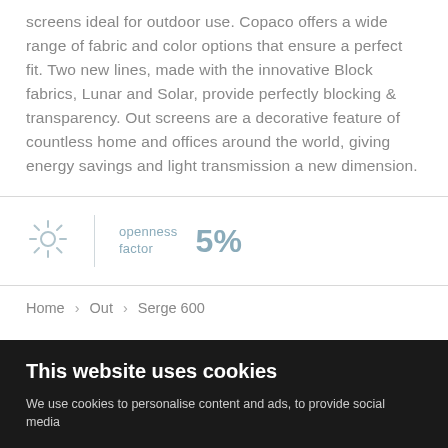screens ideal for outdoor use. Copaco offers a wide range of fabric and color options that ensure a perfect fit. Two new lines, made with the innovative Block fabrics, Lunar and Solar, provide perfectly blocking & transparency. Out screens are a decorative feature of countless home and offices around the world, giving energy savings and light transmission a new dimension.
[Figure (illustration): Sun/light icon (decorative sun symbol with rays)]
openness factor  5%
Home > Out > Serge 600
This website uses cookies
We use cookies to personalise content and ads, to provide social media